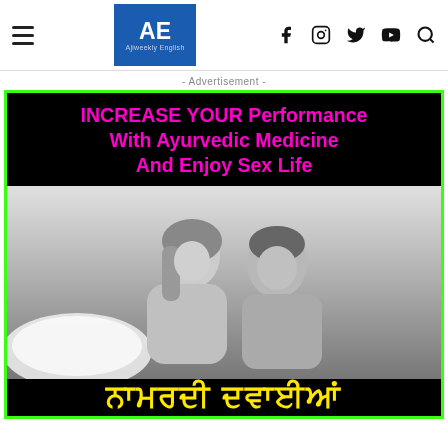AE Ajiweekly English — navigation header with social icons
- Advertisement -
[Figure (photo): Advertisement banner with bright green border on black background. Top text in bold magenta: 'INCREASE YOUR Performance With Ayurvedic Medicine And Enjoy Sex Life'. Below is a grayscale photo of a couple (woman and man) smiling intimately. Bottom bar has yellow Punjabi script text on black background.]